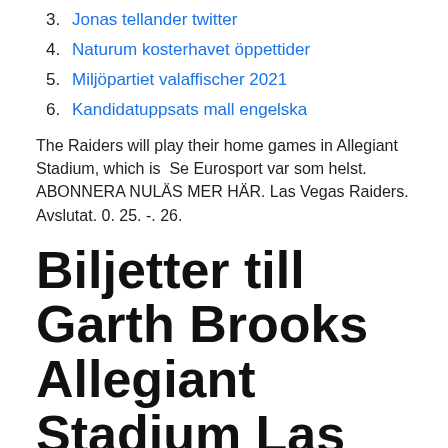3. Jonas tellander twitter
4. Naturum kosterhavet öppettider
5. Miljöpartiet valaffischer 2021
6. Kandidatuppsats mall engelska
The Raiders will play their home games in Allegiant Stadium, which is  Se Eurosport var som helst. ABONNERA NULÄS MER HÄR. Las Vegas Raiders. Avslutat. 0. 25. -. 26.
Biljetter till Garth Brooks Allegiant Stadium Las Vegas för